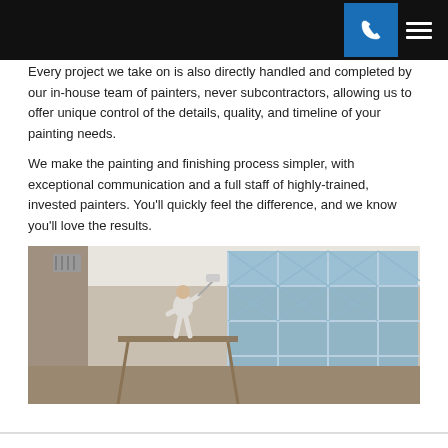Navigation header with phone button and menu icon
Every project we take on is also directly handled and completed by our in-house team of painters, never subcontractors, allowing us to offer unique control of the details, quality, and timeline of your painting needs.
We make the painting and finishing process simpler, with exceptional communication and a full staff of highly-trained, invested painters. You'll quickly feel the difference, and we know you'll love the results.
[Figure (photo): A painter in white protective clothing standing on scaffolding inside a large room with tall gothic-style windows covered with blue painter's tape, painting the ceiling white.]